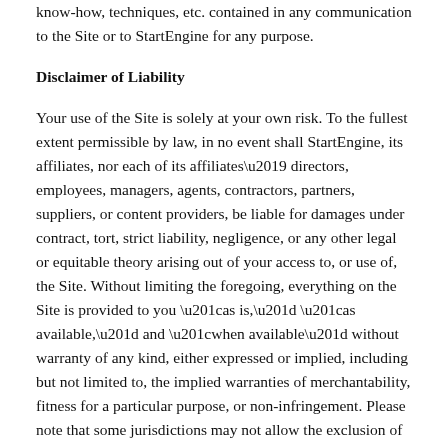know-how, techniques, etc. contained in any communication to the Site or to StartEngine for any purpose.
Disclaimer of Liability
Your use of the Site is solely at your own risk. To the fullest extent permissible by law, in no event shall StartEngine, its affiliates, nor each of its affiliates’ directors, employees, managers, agents, contractors, partners, suppliers, or content providers, be liable for damages under contract, tort, strict liability, negligence, or any other legal or equitable theory arising out of your access to, or use of, the Site. Without limiting the foregoing, everything on the Site is provided to you “as is,” “as available,” and “when available” without warranty of any kind, either expressed or implied, including but not limited to, the implied warranties of merchantability, fitness for a particular purpose, or non-infringement. Please note that some jurisdictions may not allow the exclusion of implied warranties or limitation of incidental or consequential damages, so some